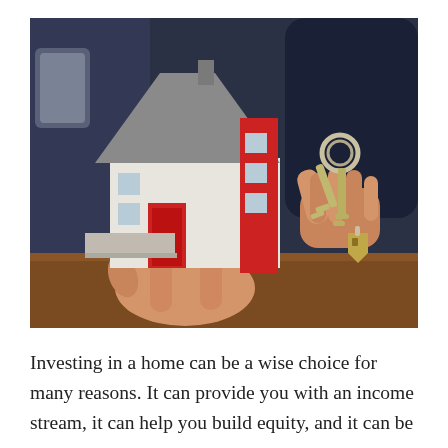[Figure (photo): A person holding a small model house in one hand and a set of keys with a house-shaped keychain in the other hand, resting on a wooden table. The miniature house has a gray roof, white walls, and red accents around the windows and door.]
Investing in a home can be a wise choice for many reasons. It can provide you with an income stream, it can help you build equity, and it can be a great way to